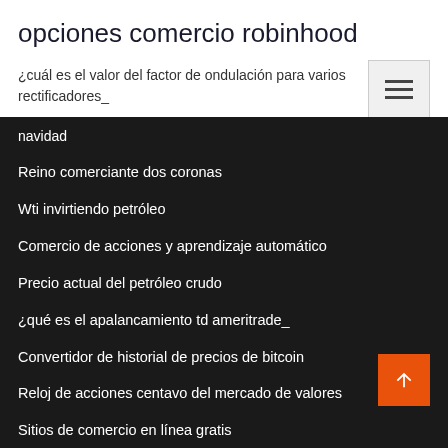opciones comercio robinhood
¿cuál es el valor del factor de ondulación para varios rectificadores_
navidad
Reino comerciante dos coronas
Wti invirtiendo petróleo
Comercio de acciones y aprendizaje automático
Precio actual del petróleo crudo
¿qué es el apalancamiento td ameritrade_
Convertidor de historial de precios de bitcoin
Reloj de acciones centavo del mercado de valores
Sitios de comercio en línea gratis